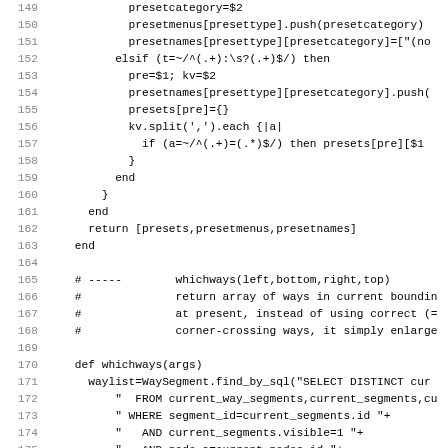[Figure (screenshot): Source code listing in a monospace font showing Ruby code lines 149-181, with grey line numbers on the left and code on the right. The code shows functions for preset handling and a whichways function with SQL queries.]